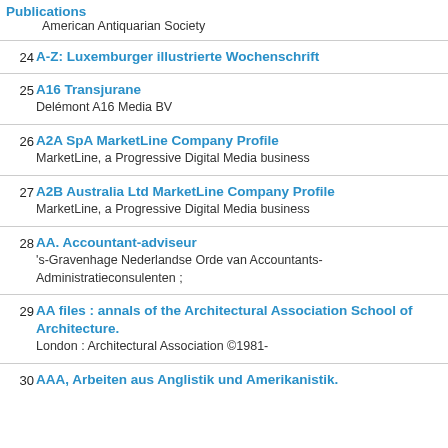Publications
American Antiquarian Society
24 A-Z: Luxemburger illustrierte Wochenschrift
25 A16 Transjurane
Delémont A16 Media BV
26 A2A SpA MarketLine Company Profile
MarketLine, a Progressive Digital Media business
27 A2B Australia Ltd MarketLine Company Profile
MarketLine, a Progressive Digital Media business
28 AA. Accountant-adviseur
's-Gravenhage Nederlandse Orde van Accountants-Administratieconsulenten ;
29 AA files : annals of the Architectural Association School of Architecture.
London : Architectural Association ©1981-
30 AAA, Arbeiten aus Anglistik und Amerikanistik.